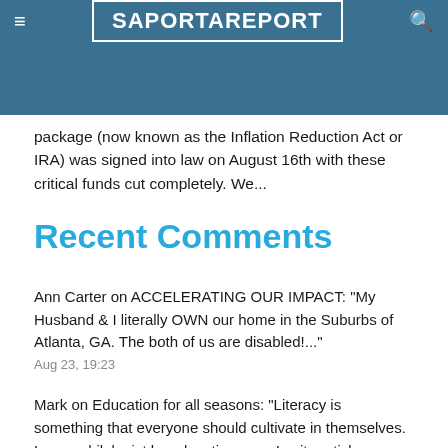SaportaReport
package (now known as the Inflation Reduction Act or IRA) was signed into law on August 16th with these critical funds cut completely. We...
Recent Comments
Ann Carter on ACCELERATING OUR IMPACT: “My Husband & I literally OWN our home in the Suburbs of Atlanta, GA. The both of us are disabled!...”
Aug 23, 19:23
Mark on Education for all seasons: “Literacy is something that everyone should cultivate in themselves. I am a philologist by education, now I write articles (https://goodmenproject.com/education-2/affordable-essay-writing-